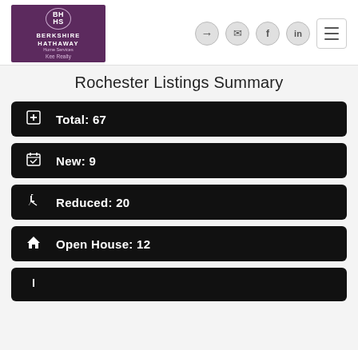[Figure (logo): Berkshire Hathaway Home Services Kee Realty logo, purple background with white text and circular emblem]
Total: 67
New: 9
Reduced: 20
Open House: 12